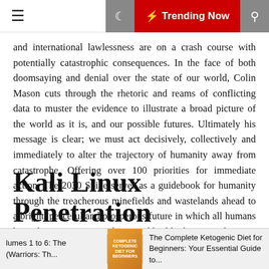≡  🌙  ⚡ Trending Now  🔍
and international lawlessness are on a crash course with potentially catastrophic consequences. In the face of both doomsaying and denial over the state of our world, Colin Mason cuts through the rhetoric and reams of conflicting data to muster the evidence to illustrate a broad picture of the world as it is, and our possible futures. Ultimately his message is clear; we must act decisively, collectively and immediately to alter the trajectory of humanity away from catastrophe. Offering over 100 priorities for immediate action, The 2030 Spike serves as a guidebook for humanity through the treacherous minefields and wastelands ahead to a bright, peaceful and prosperous future in which all humans have the opportunity to thrive and build a better civilization. This book is powerful and essential reading for all people concerned with the future of humanity and planet earth.
Kali Linux Penetration
[Figure (other): Advertisement bar at bottom showing book thumbnails and titles: 'lumes 1 to 6: The (Warriors: Th...', book cover image for 'Complete Ketogenic Diet for Beginners', and 'The Complete Ketogenic Diet for Beginners: Your Essential Guide to...']